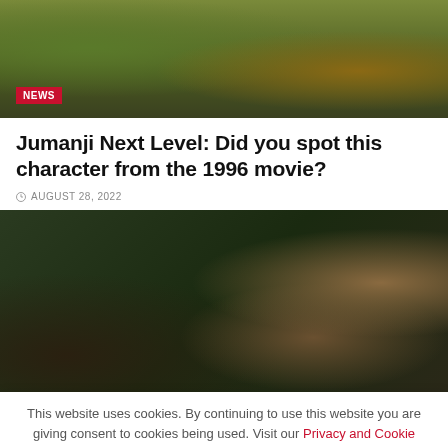[Figure (photo): Top portion of a jungle/outdoor scene with green plants and foliage, with a NEWS badge overlay in the lower left]
Jumanji Next Level: Did you spot this character from the 1996 movie?
AUGUST 28, 2022
[Figure (photo): Scene from Jumanji showing people outdoors near a chain-link fence]
This website uses cookies. By continuing to use this website you are giving consent to cookies being used. Visit our Privacy and Cookie Policy.
I Agree